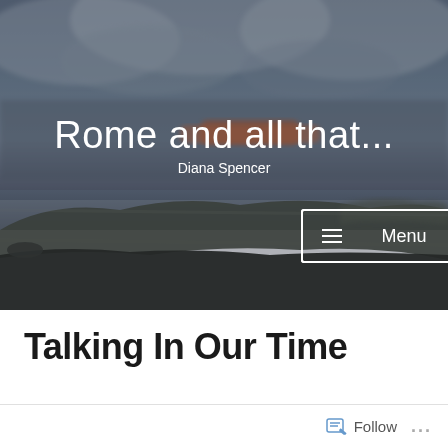[Figure (photo): Hero banner photo of a coastal landscape at dusk with dramatic cloudy sky, mountains in background, water visible, image appears slightly motion-blurred. Overlaid with blog title 'Rome and all that...' and author name 'Diana Spencer' and a Menu button.]
Rome and all that...
Diana Spencer
Talking In Our Time
Follow ...